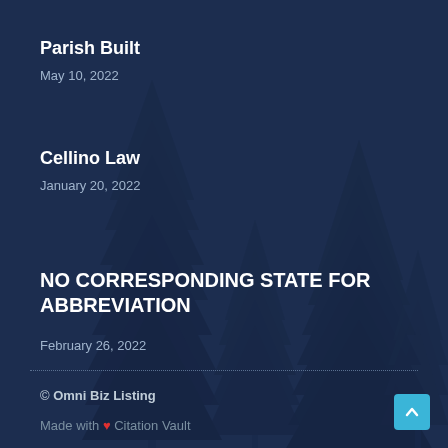Parish Built
May 10, 2022
Cellino Law
January 20, 2022
NO CORRESPONDING STATE FOR ABBREVIATION
February 26, 2022
© Omni Biz Listing
Made with ❤ Citation Vault